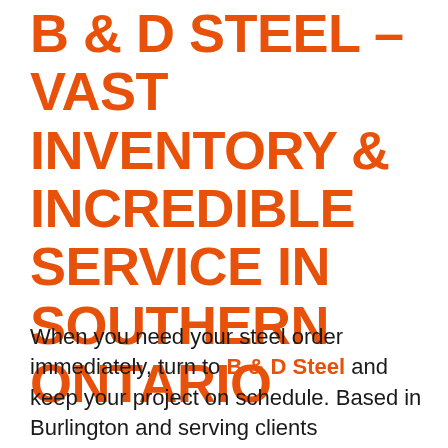B & D STEEL – VAST INVENTORY & INCREDIBLE SERVICE IN SOUTHERN ONTARIO
When you need your steel order immediately, turn to B & D Steel and keep your project on schedule. Based in Burlington and serving clients